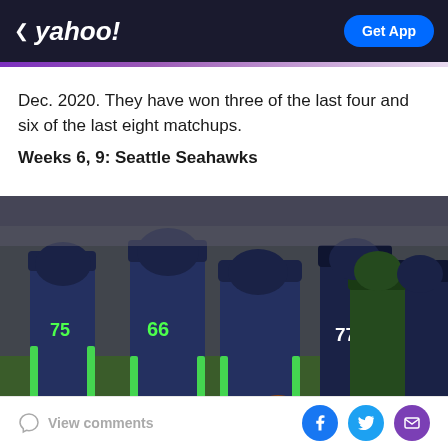yahoo! — Get App
Dec. 2020. They have won three of the last four and six of the last eight matchups.
Weeks 6, 9: Seattle Seahawks
[Figure (photo): Seattle Seahawks quarterback dropping back to pass, wearing navy blue and neon green uniforms, with offensive linemen blocking including #66 and #75, and opposing defenders in green and white uniforms.]
View comments